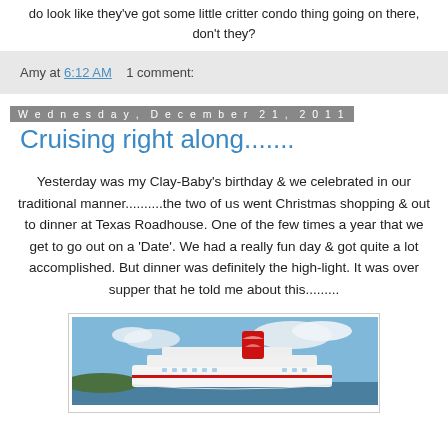do look like they've got some little critter condo thing going on there, don't they?
Amy at 6:12 AM    1 comment:
Wednesday, December 21, 2011
Cruising right along.......
Yesterday was my Clay-Baby’s birthday & we celebrated in our traditional manner..........the two of us went Christmas shopping & out to dinner at Texas Roadhouse. One of the few times a year that we get to go out on a ‘Date’. We had a really fun day & got quite a lot accomplished. But dinner was definitely the high-light. It was over supper that he told me about this.........
[Figure (photo): Photo of a Carnival cruise ship at sea with blue sky and clouds in the background]